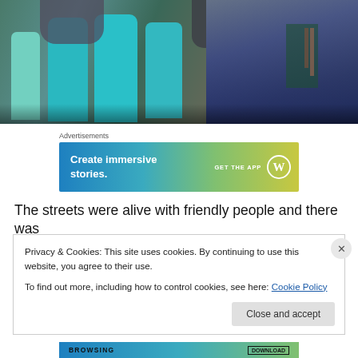[Figure (photo): People sitting in chairs, viewed from behind. Teal/turquoise colored chairs visible, people wearing casual clothes. Indoor setting.]
Advertisements
[Figure (screenshot): WordPress advertisement banner: 'Create immersive stories. GET THE APP' with WordPress logo]
The streets were alive with friendly people and there was
Privacy & Cookies: This site uses cookies. By continuing to use this website, you agree to their use.
To find out more, including how to control cookies, see here: Cookie Policy
[Figure (screenshot): Advertisement banner at bottom partially visible]